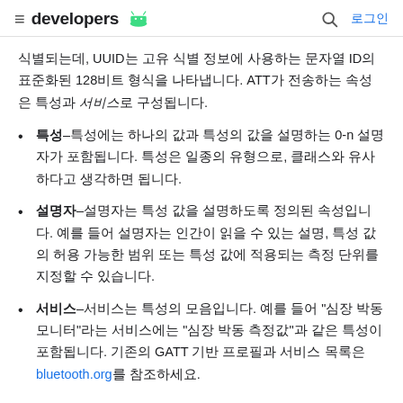developers
식별되는데, UUID는 고유 식별 정보에 사용하는 문자열 ID의 표준화된 128비트 형식을 나타냅니다. ATT가 전송하는 속성은 특성과 서비스로 구성됩니다.
특성–특성에는 하나의 값과 특성의 값을 설명하는 0-n 설명자가 포함됩니다. 특성은 일종의 유형으로, 클래스와 유사하다고 생각하면 됩니다.
설명자–설명자는 특성 값을 설명하도록 정의된 속성입니다. 예를 들어 설명자는 인간이 읽을 수 있는 설명, 특성 값의 허용 가능한 범위 또는 특성 값에 적용되는 측정 단위를 지정할 수 있습니다.
서비스–서비스는 특성의 모음입니다. 예를 들어 "심장 박동 모니터"라는 서비스에는 "심장 박동 측정값"과 같은 특성이 포함됩니다. 기존의 GATT 기반 프로필과 서비스 목록은 bluetooth.org를 참조하세요.